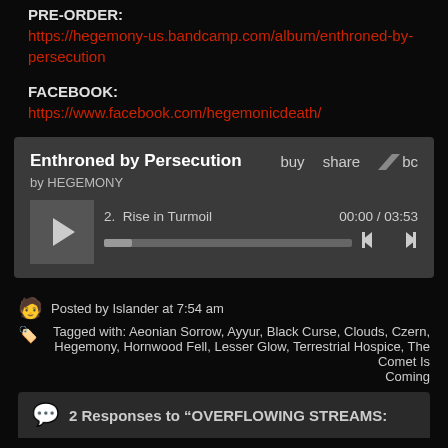PRE-ORDER:
https://hegemony-us.bandcamp.com/album/enthroned-by-persecution
FACEBOOK:
https://www.facebook.com/hegemonicdeath/
[Figure (screenshot): Bandcamp embedded music player showing 'Enthroned by Persecution' by HEGEMONY, track 2. Rise in Turmoil, time 00:00 / 03:53, with play button, progress bar, and navigation controls. Options: buy, share, bc logo.]
Posted by Islander at 7:54 am
Tagged with: Aeonian Sorrow, Ayyur, Black Curse, Clouds, Czern, Hegemony, Hornwood Fell, Lesser Glow, Terrestrial Hospice, The Comet Is Coming
2 Responses to “OVERFLOWING STREAMS: